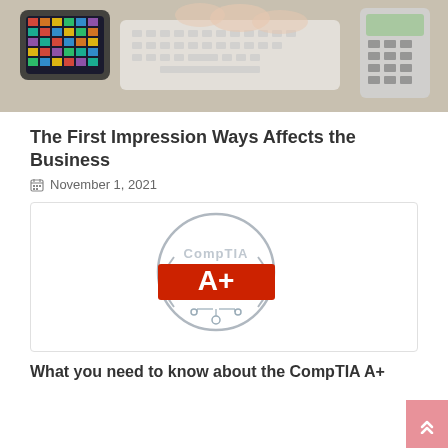[Figure (photo): Person typing on a keyboard at a desk with a colorful tablet and calculator visible, viewed from above]
The First Impression Ways Affects the Business
November 1, 2021
[Figure (logo): CompTIA A+ certification logo — circular badge outline with CompTIA text and a red banner with A+ in white]
What you need to know about the CompTIA A+